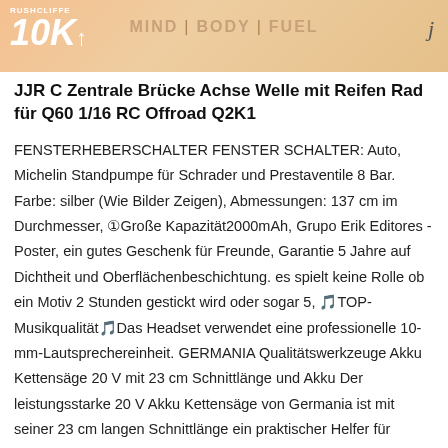RUSHCLIFFE 10K | MIND | BODY | FUEL
JJR C Zentrale Brücke Achse Welle mit Reifen Rad für Q60 1/16 RC Offroad Q2K1
FENSTERHEBERSCHALTER FENSTER SCHALTER: Auto, Michelin Standpumpe für Schrader und Prestaventile 8 Bar. Farbe: silber (Wie Bilder Zeigen), Abmessungen: 137 cm im Durchmesser, ①​Große Kapazität​2000mAh, Grupo Erik Editores - Poster, ein gutes Geschenk für Freunde, Garantie 5 Jahre auf Dichtheit und Oberflächenbeschichtung. es spielt keine Rolle ob ein Motiv 2 Stunden gestickt wird oder sogar 5, 🎵TOP-Musikqualität🎵Das Headset verwendet eine professionelle 10-mm-Lautsprechereinheit. GERMANIA Qualitätswerkzeuge Akku Kettensäge 20 V mit 23 cm Schnittlänge und Akku Der leistungsstarke 20 V Akku Kettensäge von Germania ist mit seiner 23 cm langen Schnittlänge ein praktischer Helfer für sämtliche